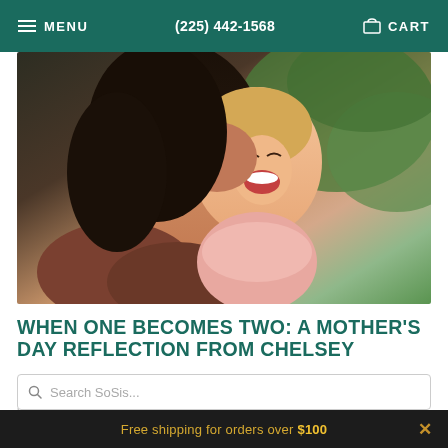MENU  (225) 442-1568  CART
[Figure (photo): A woman with dark hair kissing a laughing young girl in a pink dress, outdoor greenery background]
WHEN ONE BECOMES TWO: A MOTHER'S DAY REFLECTION FROM CHELSEY
by Shop SoSis  •  May 06, 2022
View full article →
Search SoSis...
Free shipping for orders over $100